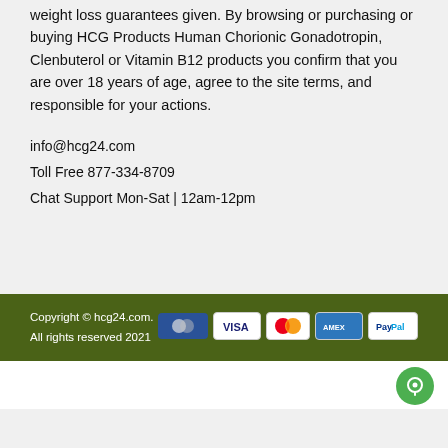weight loss guarantees given. By browsing or purchasing or buying HCG Products Human Chorionic Gonadotropin, Clenbuterol or Vitamin B12 products you confirm that you are over 18 years of age, agree to the site terms, and responsible for your actions.
info@hcg24.com
Toll Free 877-334-8709
Chat Support Mon-Sat | 12am-12pm
Copyright © hcg24.com.
All rights reserved 2021